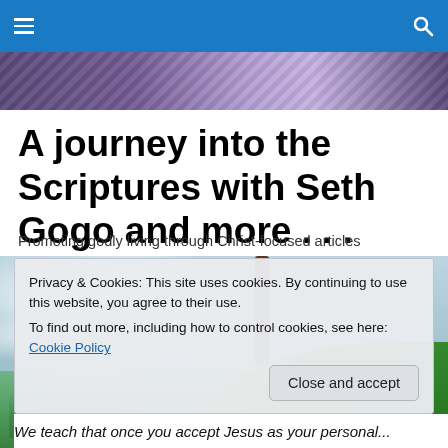Navigation bar with menu and search icons
[Figure (photo): Partial banner image at top showing woven textile or fabric in purple/mauve tones]
A journey into the Scriptures with Seth Gogo and more . . .
Promoting godly living through Christ-focused articles
[Figure (photo): Cherry blossom tree in full bloom with white flowers on left side and vivid green grass on the right side against a light sky background]
Privacy & Cookies: This site uses cookies. By continuing to use this website, you agree to their use.
To find out more, including how to control cookies, see here: Cookie Policy
Close and accept
We teach that once you accept Jesus as your personal...